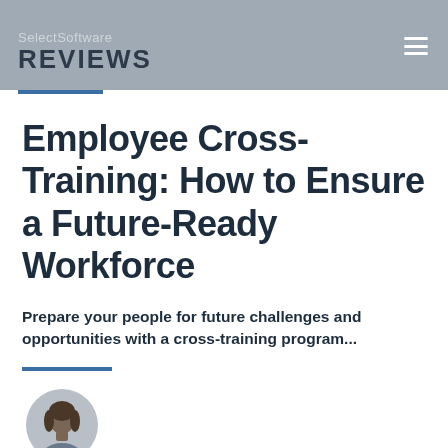SelectSoftware REVIEWS
Employee Cross-Training: How to Ensure a Future-Ready Workforce
Prepare your people for future challenges and opportunities with a cross-training program...
[Figure (photo): Circular cropped photo of a woman author]